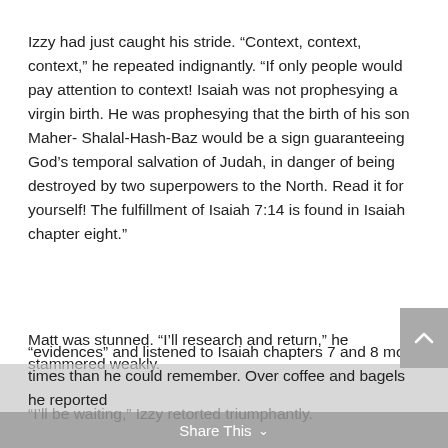Izzy had just caught his stride. “Context, context, context,” he repeated indignantly. “If only people would pay attention to context! Isaiah was not prophesying a virgin birth. He was prophesying that the birth of his son Maher- Shalal-Hash-Baz would be a sign guaranteeing God’s temporal salvation of Judah, in danger of being destroyed by two superpowers to the North. Read it for yourself! The fulfillment of Isaiah 7:14 is found in Isaiah chapter eight.”
Matt was stunned. “I’ll research and return,” he stammered weakly.
“I’ll be waiting,” Izzy retorted triumphantly.
A week later, they happened upon one another at the local Starbucks. This time Matt was prepared. He had enlisted more “evidences” and listened to Isaiah chapters 7 and 8 more times than he could remember. Over coffee and bagels he reported